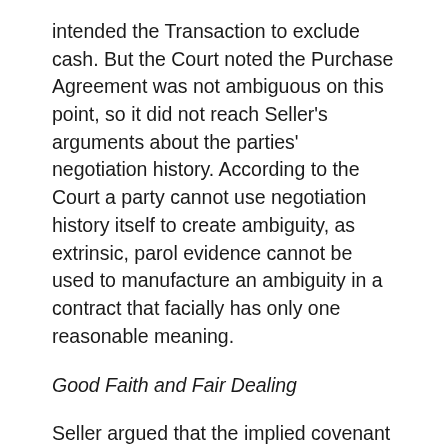intended the Transaction to exclude cash. But the Court noted the Purchase Agreement was not ambiguous on this point, so it did not reach Seller's arguments about the parties' negotiation history. According to the Court a party cannot use negotiation history itself to create ambiguity, as extrinsic, parol evidence cannot be used to manufacture an ambiguity in a contract that facially has only one reasonable meaning.
Good Faith and Fair Dealing
Seller argued that the implied covenant of good faith and fair dealing required Buyer to return the Disputed Cash. Since Seller failed to identify a gap in transaction terms in which the implied